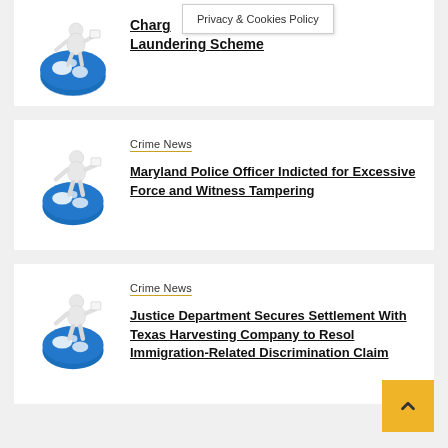[Figure (illustration): White 3D figure sitting on globe illustration]
Charged in Money Laundering Scheme
Privacy & Cookies Policy
[Figure (illustration): White 3D figure sitting on globe illustration]
Crime News
Maryland Police Officer Indicted for Excessive Force and Witness Tampering
[Figure (illustration): White 3D figure sitting on globe illustration]
Crime News
Justice Department Secures Settlement With Texas Harvesting Company to Resolve Immigration-Related Discrimination Claim